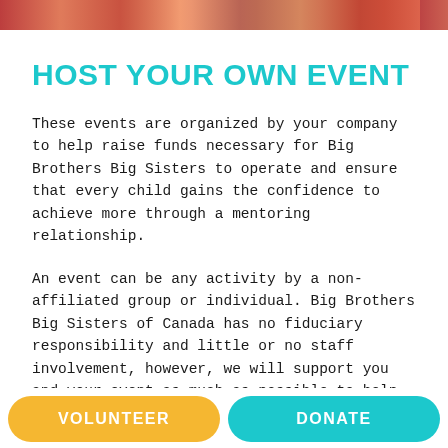[Figure (photo): Colorful photo strip banner at the top of the page]
HOST YOUR OWN EVENT
These events are organized by your company to help raise funds necessary for Big Brothers Big Sisters to operate and ensure that every child gains the confidence to achieve more through a mentoring relationship.
An event can be any activity by a non-affiliated group or individual. Big Brothers Big Sisters of Canada has no fiduciary responsibility and little or no staff involvement, however, we will support you and your event as much as possible to help it be a
VOLUNTEER    DONATE